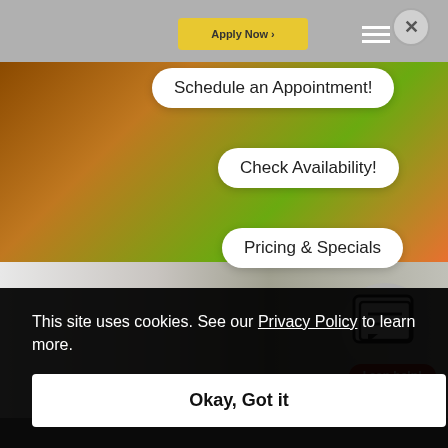[Figure (screenshot): Top navigation bar with yellow Apply Now button, close X button, and white menu hamburger icon]
[Figure (photo): Photo of colorful bikes or gym equipment in yellow, green, orange tones]
Schedule an Appointment!
Check Availability!
Pricing & Specials
[Figure (photo): Photo of storage unit door with padlock on white background]
[Figure (illustration): Chat bubble icon with lines inside on grey circular background]
I can help!
This site uses cookies. See our Privacy Policy to learn more.
Okay, Got it